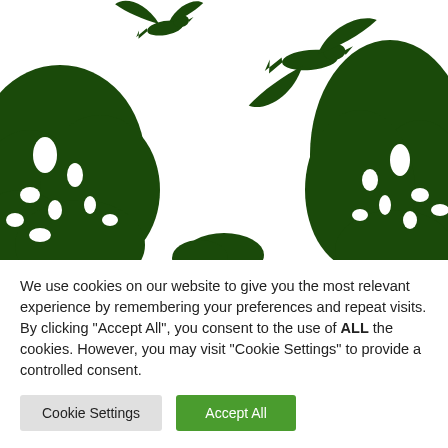[Figure (illustration): Dark green silhouette nature illustration showing trees on left and right sides with two birds (eagles/hawks) in flight in the upper center area, on a white background.]
We use cookies on our website to give you the most relevant experience by remembering your preferences and repeat visits. By clicking "Accept All", you consent to the use of ALL the cookies. However, you may visit "Cookie Settings" to provide a controlled consent.